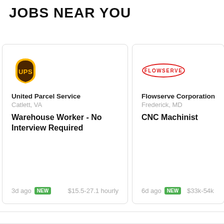JOBS NEAR YOU
[Figure (other): UPS shield logo in gold and brown]
United Parcel Service
Catlett, VA
Warehouse Worker - No Interview Required
3d ago NEW $15.5-27.1 hourly
[Figure (logo): Flowserve logo in red]
Flowserve Corporation
Frederick, MD
CNC Machinist
6d ago NEW $33k-54k